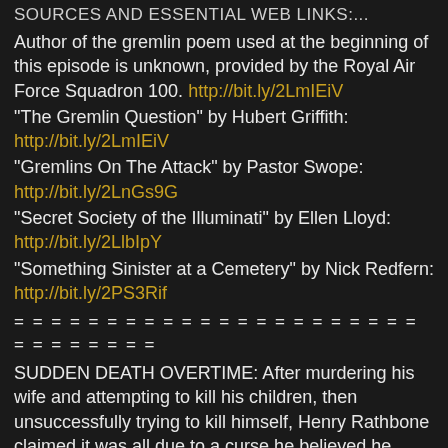SOURCES AND ESSENTIAL WEB LINKS:...
Author of the gremlin poem used at the beginning of this episode is unknown, provided by the Royal Air Force Squadron 100. http://bit.ly/2LmIEiV
"The Gremlin Question" by Hubert Griffith: http://bit.ly/2LmIEiV
"Gremlins On The Attack" by Pastor Swope: http://bit.ly/2LnGs9G
"Secret Society of the Illuminati" by Ellen Lloyd: http://bit.ly/2LlbIpY
"Something Sinister at a Cemetery" by Nick Redfern: http://bit.ly/2PS3Rif
= = = = = = = = = = = = = = = = = = = = = = = = = = = = = =
SUDDEN DEATH OVERTIME: After murdering his wife and attempting to kill his children, then unsuccessfully trying to kill himself, Henry Rathbone claimed it was all due to a curse he believed he brought onto himself – which began at the death of the 16th President of the